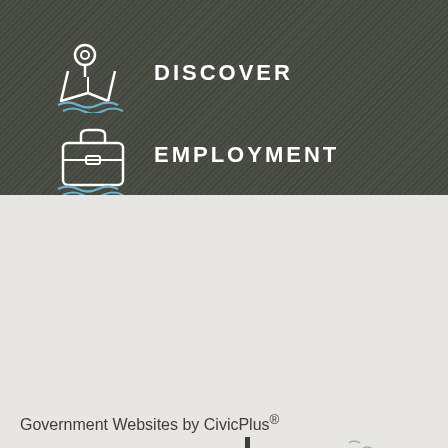[Figure (illustration): Dark diagonal-striped background section with two navigation menu items: DISCOVER with map/pin icon and EMPLOYMENT with briefcase icon, white icons and text on dark background]
[Figure (logo): Ashland Wisconsin city logo — 'ASHLAND' in large bold serif letters with vertical bar separator, 'WISCONSIN' below in light blue spaced sans-serif, with decorative water wave and birds graphic]
Government Websites by CivicPlus®